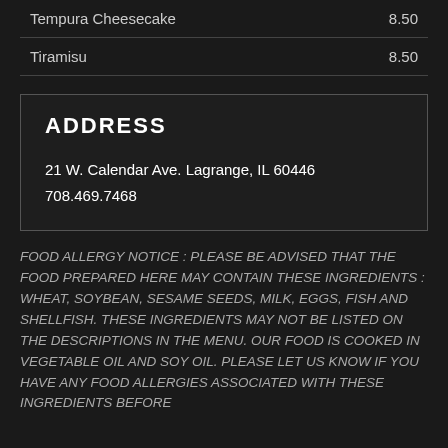| Item | Price |
| --- | --- |
| Tempura Cheesecake | 8.50 |
| Tiramisu | 8.50 |
ADDRESS
21 W. Calendar Ave. Lagrange, IL 60446
708.469.7468
FOOD ALLERGY NOTICE : PLEASE BE ADVISED THAT THE FOOD PREPARED HERE MAY CONTAIN THESE INGREDIENTS : WHEAT, SOYBEAN, SESAME SEEDS, MILK, EGGS, FISH AND SHELLFISH. THESE INGREDIENTS MAY NOT BE LISTED ON THE DESCRIPTIONS IN THE MENU. OUR FOOD IS COOKED IN VEGETABLE OIL AND SOY OIL. PLEASE LET US KNOW IF YOU HAVE ANY FOOD ALLERGIES ASSOCIATED WITH THESE INGREDIENTS BEFORE